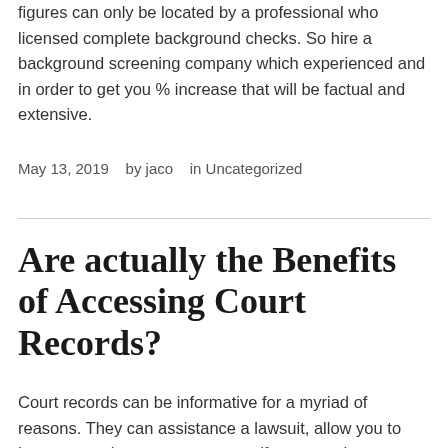figures can only be located by a professional who licensed complete background checks. So hire a background screening company which experienced and in order to get you % increase that will be factual and extensive.
May 13, 2019   by jaco   in Uncategorized
Are actually the Benefits of Accessing Court Records?
Court records can be informative for a myriad of reasons. They can assistance a lawsuit, allow you to learn more about your ancestors if you want in genealogy, or help you